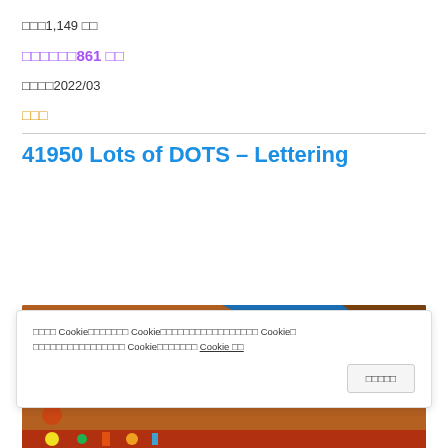□□□1,149 □□
□□□□□□861 □□
□□□□2022/03
□□□
41950 Lots of DOTS – Lettering
[Figure (illustration): Colorful illustrated book cover or product image with brown, blue and colorful elements]
□□□□ Cookie□□□□□□□ Cookie□□□□□□□□□□□□□□□□□ Cookie□ □□□□□□□□□□□□□□□□ Cookie□□□□□□□ Cookie □□